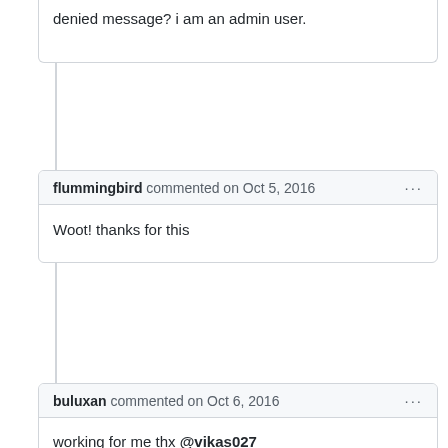denied message? i am an admin user.
flummingbird commented on Oct 5, 2016
Woot! thanks for this
buluxan commented on Oct 6, 2016
working for me thx @vikas027

~$ grep -i sublime ~/.bash_profile
alias sl='/Applications/Sublime\ Text\ 2.app/Contents/SharedSupport/bin/subl'
~$
ghost commented on Oct 11, 2016